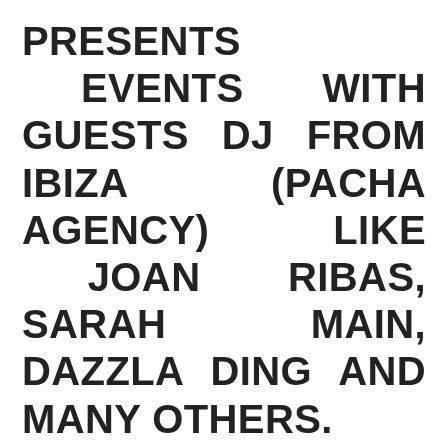PRESENTS EVENTS WITH GUESTS DJ FROM IBIZA (PACHA AGENCY) LIKE JOAN RIBAS, SARAH MAIN, DAZZLA DING AND MANY OTHERS. THIS WEEK IS THE TURN OF BABY JONES, THAT WILL PLAY AT NINO BUDAPEST NEXT SATURDAY, MAY 3RD! SO, IF YOU IN HUNGARY, DON'T MISS IT...IT WILL BE A NIGHT OF